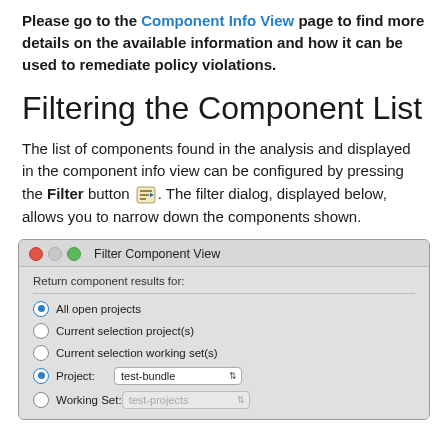Please go to the Component Info View page to find more details on the available information and how it can be used to remediate policy violations.
Filtering the Component List
The list of components found in the analysis and displayed in the component info view can be configured by pressing the Filter button [icon]. The filter dialog, displayed below, allows you to narrow down the components shown.
[Figure (screenshot): Filter Component View dialog box showing radio button options: All open projects, Current selection project(s), Current selection working set(s), Project (selected, with 'test-bundle' dropdown), and Working Set (with 'test-projects' dropdown, disabled).]